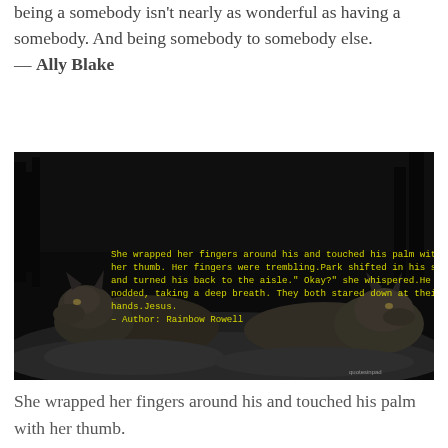being a somebody isn't nearly as wonderful as having a somebody. And being somebody to somebody else. — Ally Blake
[Figure (photo): Dark photograph of two wolves in snow with yellow text overlay quoting Rainbow Rowell: 'She wrapped her fingers around his and touched his palm with her thumb. Her fingers were trembling. Park shifted in his seat and turned his back to the aisle. Okay? she whispered. He nodded, taking a deep breath. They both stared down at their hands. Jesus. – Author: Rainbow Rowell']
She wrapped her fingers around his and touched his palm with her thumb.
Her fingers were trembling.
Park shifted in his seat and turned his back to the